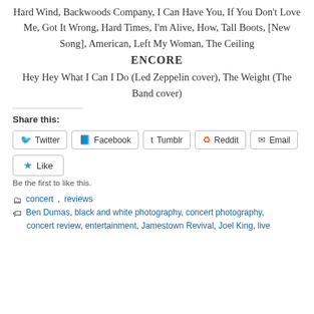Hard Wind, Backwoods Company, I Can Have You, If You Don't Love Me, Got It Wrong, Hard Times, I'm Alive, How, Tall Boots, [New Song], American, Left My Woman, The Ceiling
ENCORE
Hey Hey What I Can I Do (Led Zeppelin cover), The Weight (The Band cover)
Share this:
Twitter  Facebook  Tumblr  Reddit  Email
Like
Be the first to like this.
concert, reviews
Ben Dumas, black and white photography, concert photography, concert review, entertainment, Jamestown Revival, Joel King, live